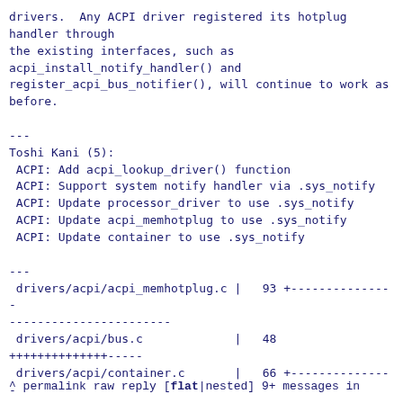drivers.  Any ACPI driver registered its hotplug
handler through
the existing interfaces, such as
acpi_install_notify_handler() and
register_acpi_bus_notifier(), will continue to work as
before.

---
Toshi Kani (5):
 ACPI: Add acpi_lookup_driver() function
 ACPI: Support system notify handler via .sys_notify
 ACPI: Update processor_driver to use .sys_notify
 ACPI: Update acpi_memhotplug to use .sys_notify
 ACPI: Update container to use .sys_notify

---
 drivers/acpi/acpi_memhotplug.c |   93 +--------------
-----------------------
 drivers/acpi/bus.c             |   48
+++++++++++++----- 
 drivers/acpi/container.c      |   66 +-------------
------------
 drivers/acpi/processor_driver.c |  82 +++-----------
-----------------
 drivers/acpi/scan.c           |   65
++++++++++++++++++++++++++
 include/acpi/acpi_bus.h        |    4 ++
 6 files changed, 117 insertions(+), 241 deletions(-)
^ permalink raw reply  [flat|nested] 9+ messages in